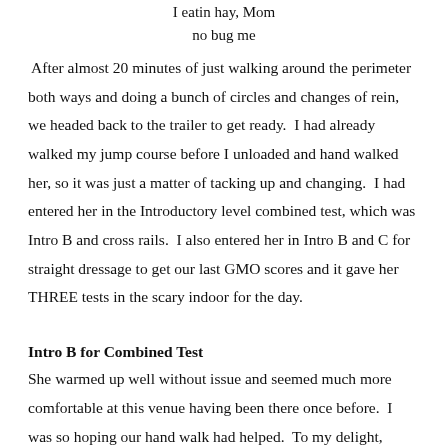I eatin hay, Mom
no bug me
After almost 20 minutes of just walking around the perimeter both ways and doing a bunch of circles and changes of rein, we headed back to the trailer to get ready.  I had already walked my jump course before I unloaded and hand walked her, so it was just a matter of tacking up and changing.  I had entered her in the Introductory level combined test, which was Intro B and cross rails.  I also entered her in Intro B and C for straight dressage to get our last GMO scores and it gave her THREE tests in the scary indoor for the day.
Intro B for Combined Test
She warmed up well without issue and seemed much more comfortable at this venue having been there once before.  I was so hoping our hand walk had helped.  To my delight, rather than being horrified when she entered the indoor like last weekend, she marched right in.  GOOD